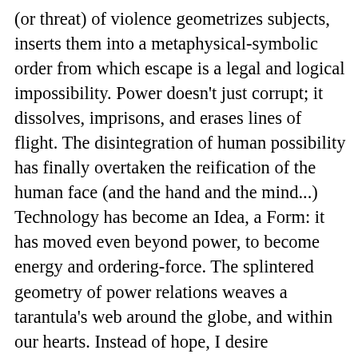(or threat) of violence geometrizes subjects, inserts them into a metaphysical-symbolic order from which escape is a legal and logical impossibility. Power doesn't just corrupt; it dissolves, imprisons, and erases lines of flight. The disintegration of human possibility has finally overtaken the reification of the human face (and the hand and the mind...) Technology has become an Idea, a Form: it has moved even beyond power, to become energy and ordering-force. The splintered geometry of power relations weaves a tarantula's web around the globe, and within our hearts. Instead of hope, I desire subversion. Instead of metaphysics, instead of morality, I want to destroy capitalism. The awakening of revolutionary possibility is necessarily individual, a kind of spontaneous poetry; a transgression without victimization, a violation of power by erotic desire (with or without violence.) Hope is the capitalist's lure; it is the old con about better tomorrows, greener fields, a bright future. I assert there